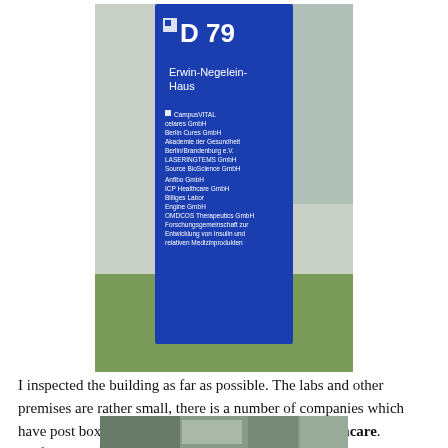[Figure (photo): Photograph of a blue building directory sign reading 'D 79' at the top with a logo, then 'Erwin-Negelein-Haus', followed by a list of company names including CampusVITAL, celares GmbH, Berlin Cures GmbH, Akademie der Gesundheit Berlin/Brandenburg e.V., LASERINGTEMS GmbH, Source BioScience GmbH, Anfibo GmbH, ICP Healthcare GmbH, Billiges Labor, Engine GmbH, OMDCOS Therapeutics GmbH, Forschungsgemeinschaft zur Entwicklung von Insulin und relativen Medizinprodukten.]
I inspected the building as far as possible. The labs and other premises are rather small, there is a number of companies which have post boxes in the hall. One of them is ICP Healthcare.[defunct as of 1/2019]
[Figure (photo): Partial photograph at bottom of page, showing what appears to be the interior or exterior of a building, partially cropped.]